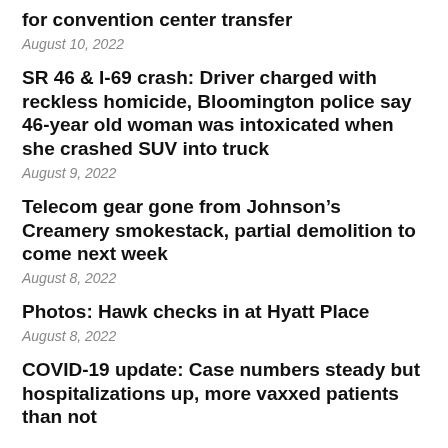for convention center transfer
August 10, 2022
SR 46 & I-69 crash: Driver charged with reckless homicide, Bloomington police say 46-year old woman was intoxicated when she crashed SUV into truck
August 9, 2022
Telecom gear gone from Johnson’s Creamery smokestack, partial demolition to come next week
August 8, 2022
Photos: Hawk checks in at Hyatt Place
August 8, 2022
COVID-19 update: Case numbers steady but hospitalizations up, more vaxxed patients than not